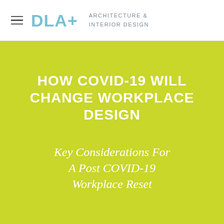DLA+  ARCHITECTURE & INTERIOR DESIGN
HOW COVID-19 WILL CHANGE WORKPLACE DESIGN
Key Considerations For A Post COVID-19 Workplace Reset